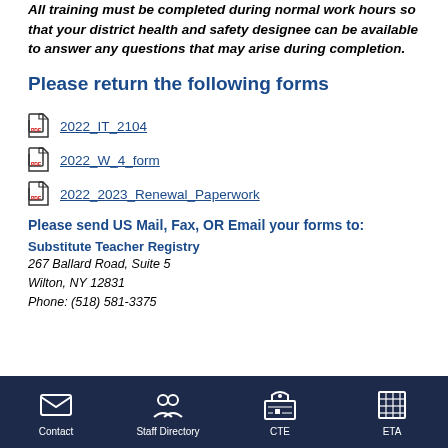All training must be completed during normal work hours so that your district health and safety designee can be available to answer any questions that may arise during completion.
Please return the following forms
2022_IT_2104
2022_W_4_form
2022_2023_Renewal_Paperwork
Please send US Mail, Fax, OR Email your forms to:
Substitute Teacher Registry
267 Ballard Road, Suite 5
Wilton, NY 12831
Phone: (518) 581-3375
Contact   Staff Directory   CTE   ETA